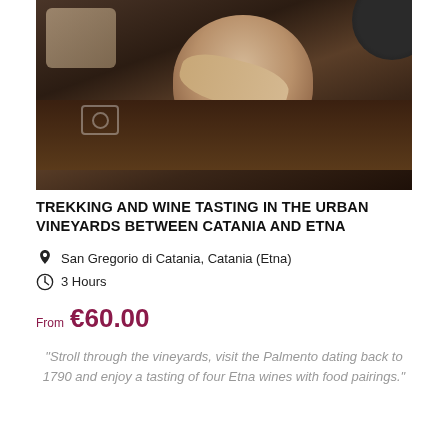[Figure (photo): Overhead/aerial view of a person working at a rustic wooden table with food/wine items, dark warm tones]
TREKKING AND WINE TASTING IN THE URBAN VINEYARDS BETWEEN CATANIA AND ETNA
San Gregorio di Catania, Catania (Etna)
3 Hours
From €60.00
"Stroll through the vineyards, visit the Palmento dating back to 1790 and enjoy a tasting of four Etna wines with food pairings."